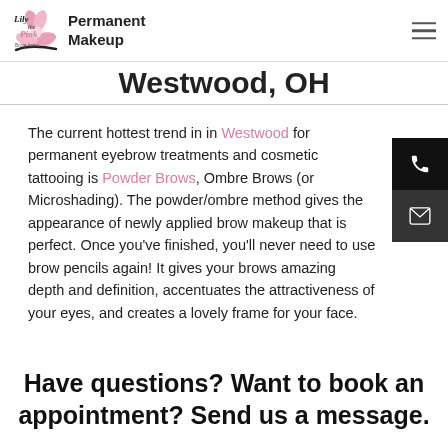Lily the Pink Permanent Makeup
Westwood, OH
The current hottest trend in in Westwood for permanent eyebrow treatments and cosmetic tattooing is Powder Brows, Ombre Brows (or Microshading). The powder/ombre method gives the appearance of newly applied brow makeup that is perfect. Once you've finished, you'll never need to use brow pencils again! It gives your brows amazing depth and definition, accentuates the attractiveness of your eyes, and creates a lovely frame for your face.
Have questions? Want to book an appointment? Send us a message.